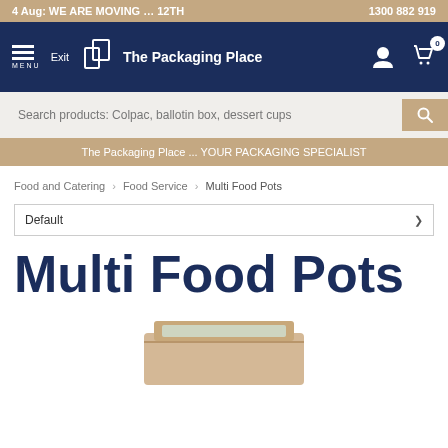4 Aug: WE ARE MOVING … 12TH | 1300 882 919
[Figure (screenshot): The Packaging Place website navigation bar with hamburger menu, logo, user icon, and cart icon showing 0 items]
Search products: Colpac, ballotin box, dessert cups
The Packaging Place ... YOUR PACKAGING SPECIALIST
Food and Catering > Food Service > Multi Food Pots
Default
Multi Food Pots
[Figure (photo): A kraft cardboard food pot/box with a clear window lid, partially visible at bottom of page]